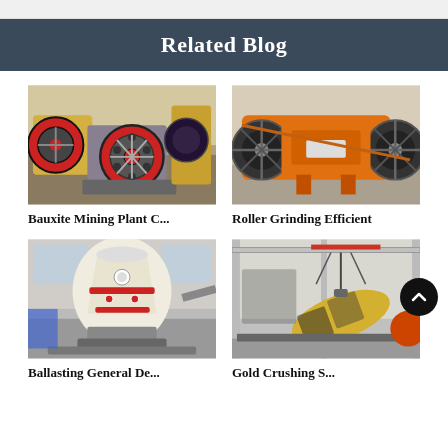Related Blog
[Figure (photo): Jaw crusher / bauxite mining plant machinery with red flywheel, industrial yellow equipment in factory]
Bauxite Mining Plant C...
[Figure (photo): Orange roller grinding mill machine on factory floor]
Roller Grinding Efficient
[Figure (photo): Large white cone crusher / grinding machine in industrial warehouse]
Ballasting General De...
[Figure (photo): Yellow industrial equipment being lifted by crane in factory hall with red sphere visible]
Gold Crushing S...